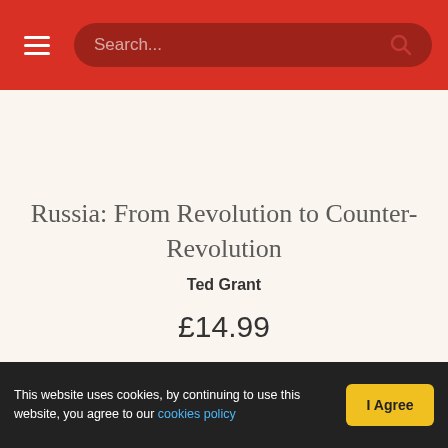Search...
Russia: From Revolution to Counter-Revolution
Ted Grant
£14.99
This website uses cookies, by continuing to use this website, you agree to our cookies policy